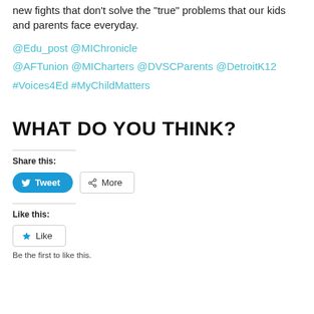new fights that don't solve the "true" problems that our kids and parents face everyday.
@Edu_post @MIChronicle @AFTunion @MICharters @DVSCParents @DetroitK12 #Voices4Ed #MyChildMatters
WHAT DO YOU THINK?
Share this:
Tweet
More
Like this:
Like
Be the first to like this.